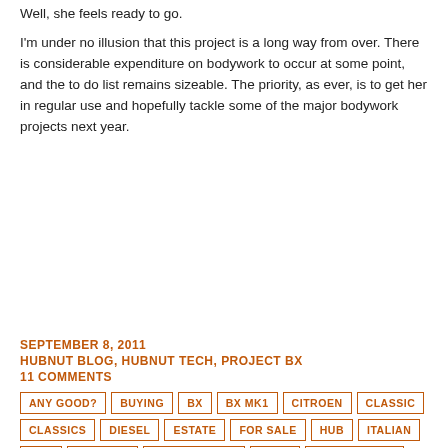Well, she feels ready to go.
I'm under no illusion that this project is a long way from over. There is considerable expenditure on bodywork to occur at some point, and the to do list remains sizeable. The priority, as ever, is to get her in regular use and hopefully tackle some of the major bodywork projects next year.
SEPTEMBER 8, 2011
HUBNUT BLOG, HUBNUT TECH, PROJECT BX
11 COMMENTS
ANY GOOD? BUYING BX BX MK1 CITROEN CLASSIC CLASSICS DIESEL ESTATE FOR SALE HUB ITALIAN MK1 PROJECT RANGE ROVER RARE RESTORATION RHD TOW TOWING VEHICLE VM WEIGHT